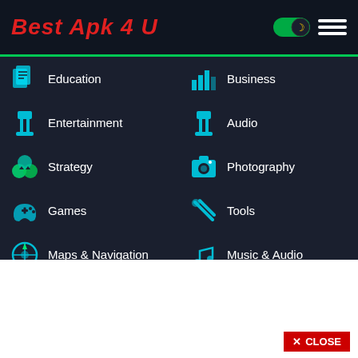Best Apk 4 U
Education
Business
Entertainment
Audio
Strategy
Photography
Games
Tools
Maps & Navigation
Music & Audio
Photos & Video
Trivia
Personalization
Role Playing